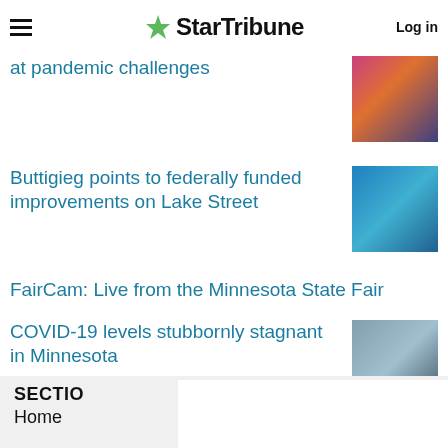StarTribune | Log in
at pandemic challenges
Buttigieg points to federally funded improvements on Lake Street
FairCam: Live from the Minnesota State Fair
COVID-19 levels stubbornly stagnant in Minnesota
SECTIONS
Home